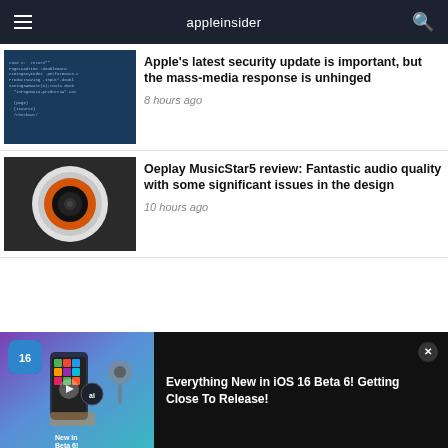appleinsider
[Figure (screenshot): Code editor screenshot with blue background showing source code]
Apple's latest security update is important, but the mass-media response is unhinged
8 hours ago
[Figure (photo): Close-up of an Oeplay MusicStar5 speaker showing orange and black speaker cone design]
Oeplay MusicStar5 review: Fantastic audio quality with some significant issues in the design
10 hours ago
[Figure (screenshot): iOS 16 Beta 6 promotional video thumbnail with iOS 16 badge, ai logo, hand holding phone, and 'New in Beta 6!' text]
Everything New in iOS 16 Beta 6! Getting Close To Release!